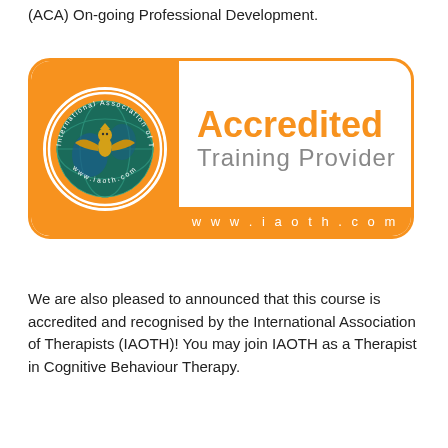(ACA) On-going Professional Development.
[Figure (logo): International Association of Therapists (IAOTH) Accredited Training Provider badge. Orange rounded rectangle with IAOTH circular emblem on the left, 'Accredited Training Provider' text in the center, and 'www.iaoth.com' on an orange bar at the bottom.]
We are also pleased to announced that this course is accredited and recognised by the International Association of Therapists (IAOTH)! You may join IAOTH as a Therapist in Cognitive Behaviour Therapy.